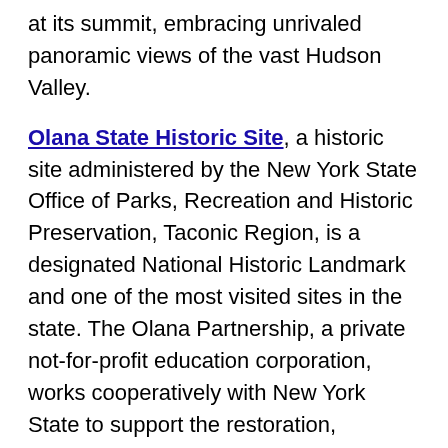at its summit, embracing unrivaled panoramic views of the vast Hudson Valley.
Olana State Historic Site, a historic site administered by the New York State Office of Parks, Recreation and Historic Preservation, Taconic Region, is a designated National Historic Landmark and one of the most visited sites in the state. The Olana Partnership, a private not-for-profit education corporation, works cooperatively with New York State to support the restoration, development and improvement of Olana State Historic Site. 2016 will mark the 50th anniversary of this public/private partnership.